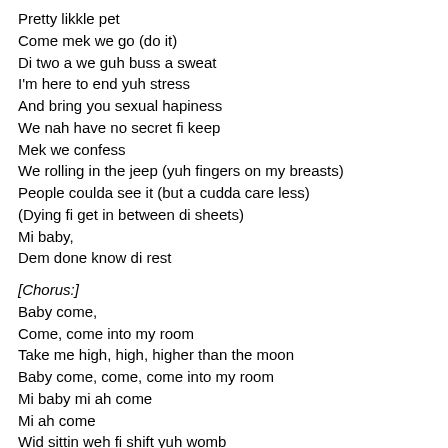Pretty likkle pet
Come mek we go (do it)
Di two a we guh buss a sweat
I'm here to end yuh stress
And bring you sexual hapiness
We nah have no secret fi keep
Mek we confess
We rolling in the jeep (yuh fingers on my breasts)
People coulda see it (but a cudda care less)
(Dying fi get in between di sheets)
Mi baby,
Dem done know di rest
[Chorus:]
Baby come,
Come, come into my room
Take me high, high, higher than the moon
Baby come, come, come into my room
Mi baby mi ah come
Mi ah come
Wid sittin weh fi shift yuh womb